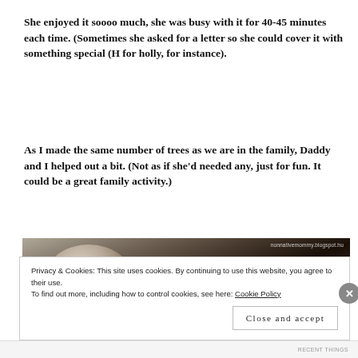She enjoyed it soooo much, she was busy with it for 40-45 minutes each time. (Sometimes she asked for a letter so she could cover it with something special (H for holly, for instance).
As I made the same number of trees as we are in the family, Daddy and I helped out a bit. (Not as if she'd needed any, just for fun. It could be a great family activity.)
[Figure (photo): Dark photo showing back of a blonde child's head, child appears to be working on an activity. Watermark reads 'nonnativemommy.blogspot.hu']
Privacy & Cookies: This site uses cookies. By continuing to use this website, you agree to their use.
To find out more, including how to control cookies, see here: Cookie Policy
Close and accept